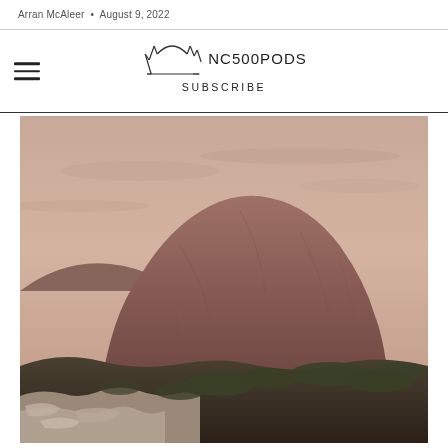Arran McAleer  •  August 9, 2022
[Figure (logo): NC500PODS logo with stylized mountain/spiky crown outline SVG icon and text 'NC500PODS' with 'SUBSCRIBE' below]
[Figure (photo): Landscape photograph of a large rounded rocky mountain (Suilven, Scotland) with pink-hued sky and rocky moorland with heather in the foreground, taken at dusk/golden hour]